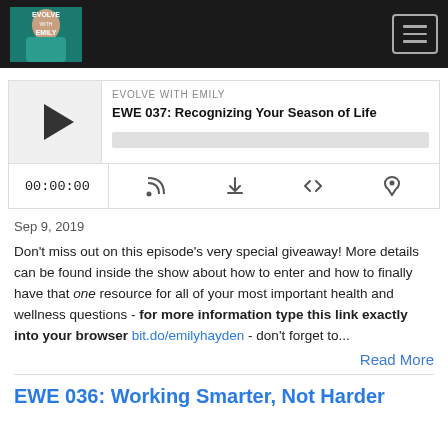EVOLVE WITH EMILY — navigation bar with logo and hamburger menu
[Figure (screenshot): Podcast player for EWE 037: Recognizing Your Season of Life showing play button, progress bar, time 00:00:00 and control icons]
Sep 9, 2019
Don't miss out on this episode's very special giveaway! More details can be found inside the show about how to enter and how to finally have that one resource for all of your most important health and wellness questions - for more information type this link exactly into your browser bit.do/emilyhayden - don't forget to...
Read More
EWE 036: Working Smarter, Not Harder